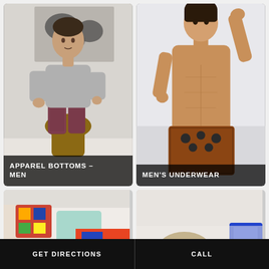[Figure (photo): Man in grey sweater and burgundy patterned trousers seated on wooden stool, with abstract artwork on wall behind]
APPAREL BOTTOMS – MEN
[Figure (photo): Shirtless athletic male model wearing brown geometric patterned swim shorts, posing against light grey background]
MEN'S UNDERWEAR
[Figure (photo): Colorful bedding and pillows on a bed, partially visible]
[Figure (photo): Partially visible bedding scene with brown object and blue item]
GET DIRECTIONS
CALL